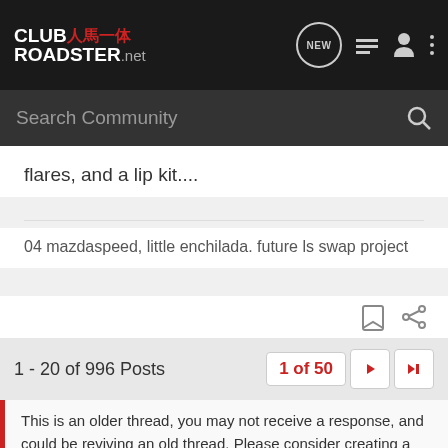CLUB ROADSTER.net - navigation header with search bar
flares, and a lip kit....
04 mazdaspeed, little enchilada. future ls swap project
1 - 20 of 996 Posts
1 of 50
This is an older thread, you may not receive a response, and could be reviving an old thread. Please consider creating a new thread.